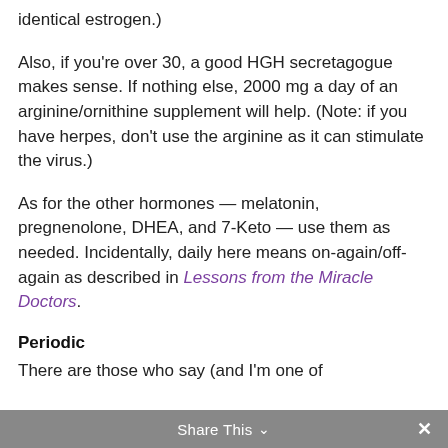identical estrogen.)
Also, if you're over 30, a good HGH secretagogue makes sense. If nothing else, 2000 mg a day of an arginine/ornithine supplement will help. (Note: if you have herpes, don't use the arginine as it can stimulate the virus.)
As for the other hormones — melatonin, pregnenolone, DHEA, and 7-Keto — use them as needed. Incidentally, daily here means on-again/off-again as described in Lessons from the Miracle Doctors.
Periodic
There are those who say (and I'm one of
Share This